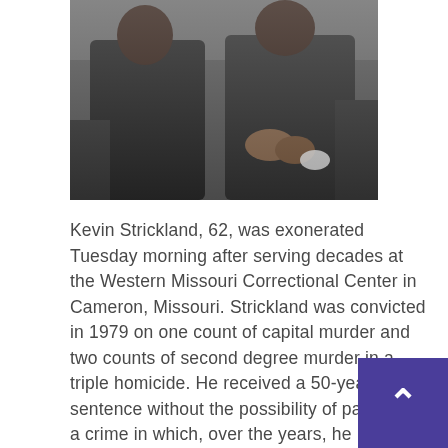[Figure (photo): Two men seated side by side, wearing dark suits, photographed from waist up. One man has his hands clasped in his lap.]
Kevin Strickland, 62, was exonerated Tuesday morning after serving decades at the Western Missouri Correctional Center in Cameron, Missouri. Strickland was convicted in 1979 on one count of capital murder and two counts of second degree murder in a triple homicide. He received a 50-year life sentence without the possibility of parole for a crime in which, over the years, he maintained he had not been involved. Senior Judge James Welsh has dismissed all charges against Strickland. His release makes his jail the longest wrongful jail term in Missouri's history and one of the longest in the country, according to the National Registry of Exonerations. The Midwest Innocence Project set up a GoFundMe